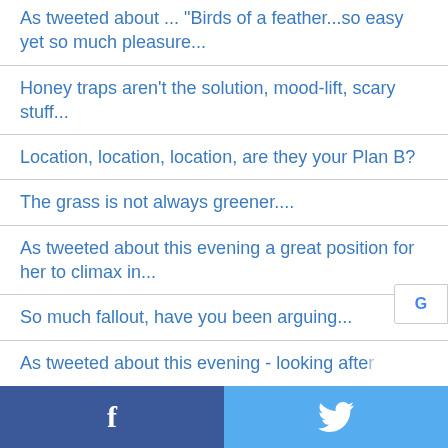As tweeted about ... "Birds of a feather...so easy yet so much pleasure...
Honey traps aren't the solution, mood-lift, scary stuff...
Location, location, location, are they your Plan B?
The grass is not always greener....
As tweeted about this evening a great position for her to climax in...
So much fallout, have you been arguing...
As tweeted about this evening - looking after
Facebook | Twitter